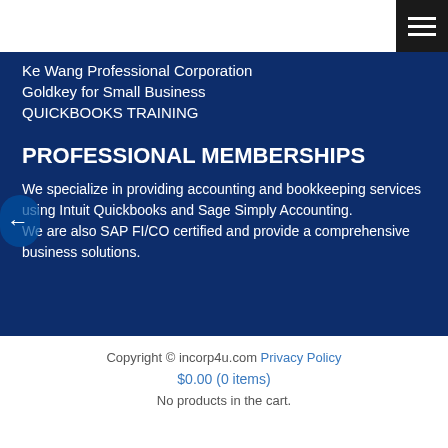Ke Wang Professional Corporation
Goldkey for Small Business
QUICKBOOKS TRAINING
PROFESSIONAL MEMBERSHIPS
We specialize in providing accounting and bookkeeping services using Intuit Quickbooks and Sage Simply Accounting. We are also SAP FI/CO certified and provide a comprehensive business solutions.
Copyright © incorp4u.com Privacy Policy $0.00 (0 items) No products in the cart.